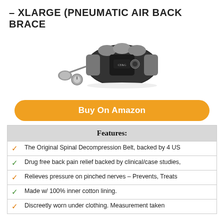– XLARGE (PNEUMATIC AIR BACK BRACE
[Figure (photo): Product photo of a pneumatic air back brace with inflation pump accessories, shown on white background.]
Buy On Amazon
| Features: |
| --- |
| ✓ The Original Spinal Decompression Belt, backed by 4 US |
| ✓ Drug free back pain relief backed by clinical/case studies, |
| ✓ Relieves pressure on pinched nerves – Prevents, Treats |
| ✓ Made w/ 100% inner cotton lining. |
| ✓ Discreetly worn under clothing. Measurement taken |